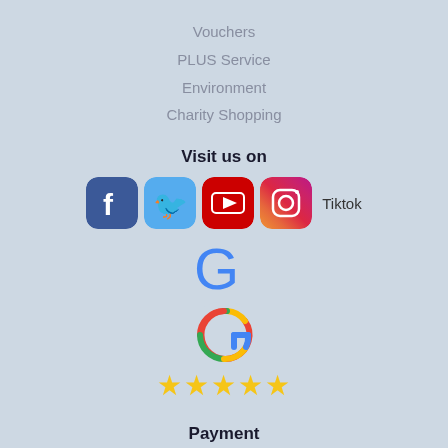Vouchers
PLUS Service
Environment
Charity Shopping
Visit us on
[Figure (logo): Social media icons: Facebook, Twitter, YouTube, Instagram, and Tiktok text label]
[Figure (logo): Google logo G icon with five gold stars below indicating 5-star rating]
Payment
We accept following payment methods.
[Figure (logo): Klarna payment logo (pink background), Mastercard logo (red and orange overlapping circles), Visa logo (white background with dark blue top border)]